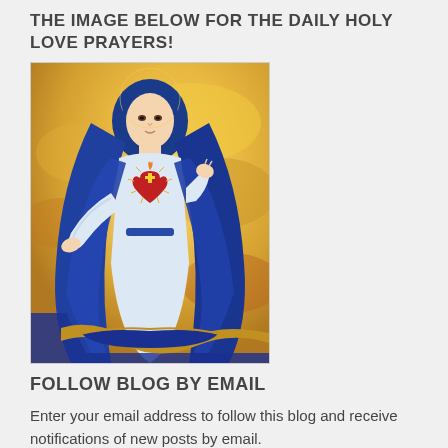THE IMAGE BELOW FOR THE DAILY HOLY LOVE PRAYERS!
[Figure (illustration): Painting of the Virgin Mary (Our Lady) wearing a blue mantle and white robe with a radiant Sacred Heart on her chest, arms outstretched, against a golden cloudy background.]
FOLLOW BLOG BY EMAIL
Enter your email address to follow this blog and receive notifications of new posts by email.